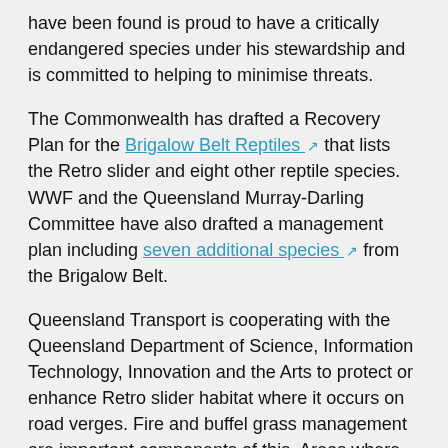have been found is proud to have a critically endangered species under his stewardship and is committed to helping to minimise threats.
The Commonwealth has drafted a Recovery Plan for the Brigalow Belt Reptiles [external link] that lists the Retro slider and eight other reptile species. WWF and the Queensland Murray-Darling Committee have also drafted a management plan including seven additional species [external link] from the Brigalow Belt.
Queensland Transport is cooperating with the Queensland Department of Science, Information Technology, Innovation and the Arts to protect or enhance Retro slider habitat where it occurs on road verges. Fire and buffel grass management are important components of this. Areas where the Retro slider have been found on road verges have been carefully mapped so that the impact of road management or upgrade activities are minimised